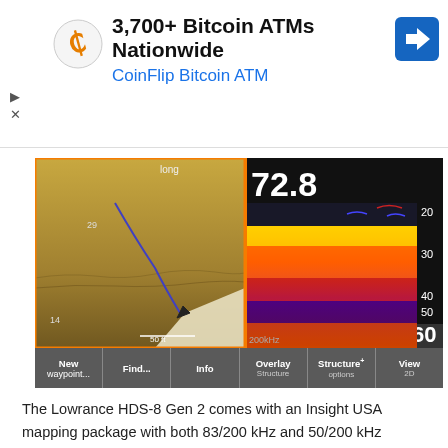[Figure (screenshot): Advertisement banner for CoinFlip Bitcoin ATM showing '3,700+ Bitcoin ATMs Nationwide' with navigation arrow icon]
[Figure (screenshot): Lowrance HDS-8 Gen 2 fish finder display showing split screen: left panel shows StructureScan sonar image of lake bottom with depth markers and 50ft scale bar, right panel shows traditional 2D sonar with depth reading 72.8 and depth scale 20-60ft at 200kHz. Bottom menu shows: New waypoint..., Find..., Info, Overlay Structure, Structure+ options, View 2D]
The Lowrance HDS-8 Gen 2 comes with an Insight USA mapping package with both 83/200 kHz and 50/200 kHz configurations and is compatible with the largest selection of cartography options on the market.  Chart sharing is also now possible, which